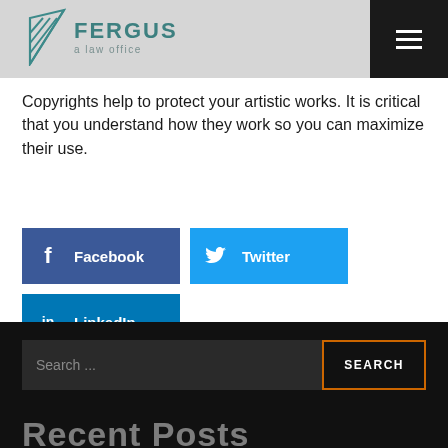[Figure (logo): Fergus a law office logo with teal fan/stripes icon and text]
[Figure (other): Hamburger menu button (three horizontal lines) on dark background]
Copyrights help to protect your artistic works. It is critical that you understand how they work so you can maximize their use.
[Figure (other): Social share buttons: Facebook, Twitter, LinkedIn]
[Figure (other): Search bar with text input 'Search ...' and SEARCH button, on dark background]
Recent Posts